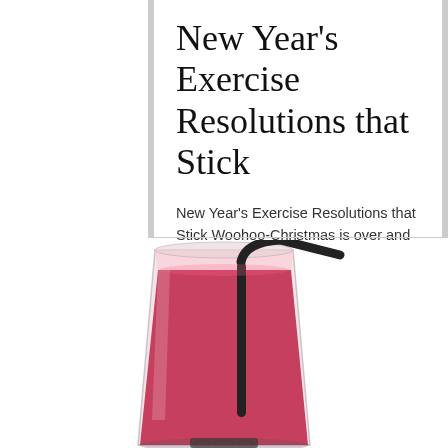New Year's Exercise Resolutions that Stick
New Year's Exercise Resolutions that Stick Woohoo-Christmas is over and now you're getting ready to start a brand new year! If you'…
[Figure (photo): A pink/red smoothie or juice drink in a clear cup with a black bent straw, photographed on a white background.]